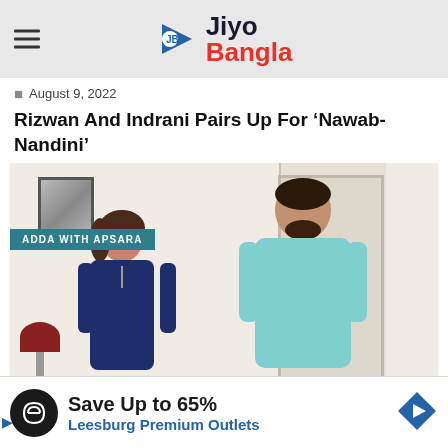Jiyo Bangla
August 9, 2022
Rizwan And Indrani Pairs Up For ‘Nawab-Nandini’
[Figure (photo): Photo of a woman in a dark blue outfit and a man in a light blue t-shirt standing together indoors, with a portrait on the wall behind them. An 'ADDA WITH APSARA' badge overlay is shown in the upper left of the image.]
Save Up to 65%
Leesburg Premium Outlets